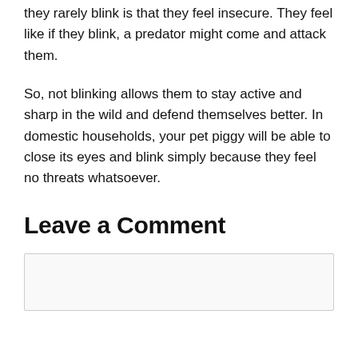they rarely blink is that they feel insecure. They feel like if they blink, a predator might come and attack them.
So, not blinking allows them to stay active and sharp in the wild and defend themselves better. In domestic households, your pet piggy will be able to close its eyes and blink simply because they feel no threats whatsoever.
Leave a Comment